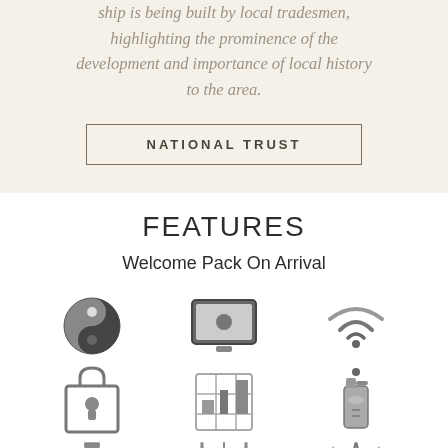ship is being built by local tradesmen, highlighting the prominence of the development and importance of local history to the area.
NATIONAL TRUST
FEATURES
Welcome Pack On Arrival
[Figure (illustration): Grid of amenity icons: yin-yang/globe icon, TV/screen icon, WiFi icon, keyhole/lock icon, grid/chart icon, cleaning bottle icon, person with arms out icon, door/cabinet icon, trophy/crown icon]